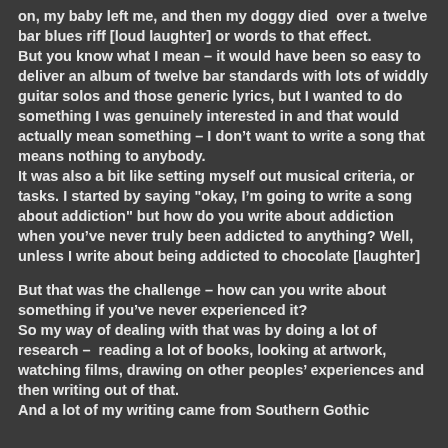on, my baby left me, and then my doggy died over a twelve bar blues riff [loud laughter] or words to that effect. But you know what I mean – it would have been so easy to deliver an album of twelve bar standards with lots of widdly guitar solos and those generic lyrics, but I wanted to do something I was genuinely interested in and that would actually mean something – I don't want to write a song that means nothing to anybody. It was also a bit like setting myself out musical criteria, or tasks. I started by saying "okay, I'm going to write a song about addiction" but how do you write about addiction when you've never truly been addicted to anything? Well, unless I write about being addicted to chocolate [laughter]
But that was the challenge – how can you write about something if you've never experienced it? So my way of dealing with that was by doing a lot of research – reading a lot of books, looking at artwork, watching films, drawing on other peoples' experiences and then writing out of that. And a lot of my writing came from Southern Gothic